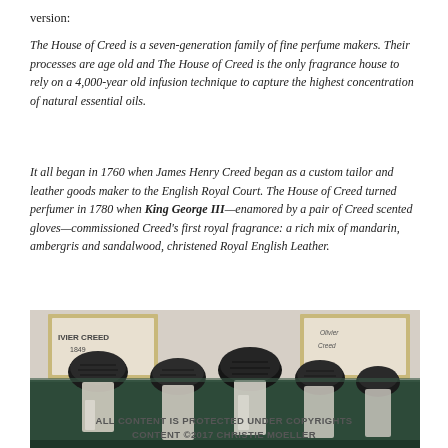version:
The House of Creed is a seven-generation family of fine perfume makers. Their processes are age old and The House of Creed is the only fragrance house to rely on a 4,000-year old infusion technique to capture the highest concentration of natural essential oils.
It all began in 1760 when James Henry Creed began as a custom tailor and leather goods maker to the English Royal Court. The House of Creed turned perfumer in 1780 when King George III—enamored by a pair of Creed scented gloves—commissioned Creed's first royal fragrance: a rich mix of mandarin, ambergris and sandalwood, christened Royal English Leather.
[Figure (photo): Photo of multiple Creed perfume bottles with dark rounded caps arranged on a green background, with framed artwork visible behind them. Text on frame reads 'OLIVIER CREED 1849'.]
ALL CONTENT IS PROTECTED UNDER COPYRIGHTS CONTENT ©2017 CHRISTIE MOELLER